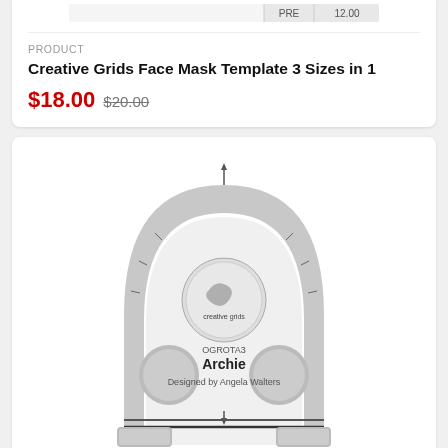[Figure (other): Partial top of a product card showing a table/image strip at the top, cut off]
PRODUCT
Creative Grids Face Mask Template 3 Sizes in 1
$18.00 $20.00
[Figure (photo): Creative Grids Machine Quilting Tool - Archie quilting ruler template, arch-shaped transparent ruler with grey shading, labeled OGROTA3 Archie, Designed by Angela Walters]
PRODUCT
Creative Grids Machine Quilting Tool - Archie
$30.00 $34.00